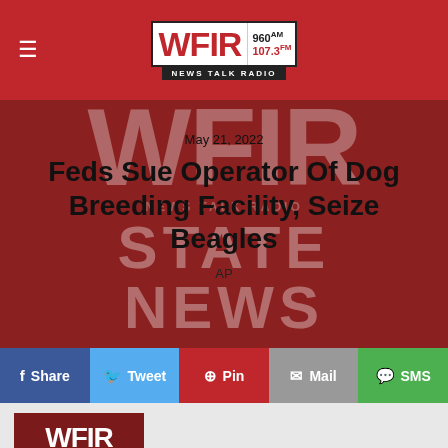WFIR 960AM 107.3FM NEWS TALK RADIO
[Figure (screenshot): WFIR News Talk Radio hero image with large watermark text showing WFIR, STATE NEWS overlaid with article headline and date]
Feds Sue Operator Of Dog Breeding Facility, Seize Beagles
May 21, 2022
AP
Share  Tweet  Pin  Mail  SMS
[Figure (logo): WFIR News Talk Radio State News thumbnail logo]